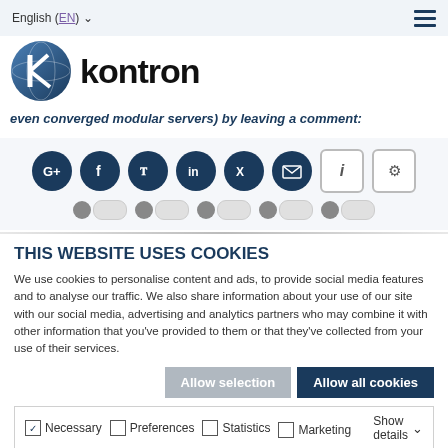English (EN) ▾
[Figure (logo): Kontron logo — blue globe with K mark and bold black 'kontron' wordmark]
even converged modular servers) by leaving a comment:
[Figure (infographic): Social share buttons: Google+, Facebook, Twitter, LinkedIn, Xing, Email (dark blue circles), and info/gear icon buttons, with toggle switches below]
THIS WEBSITE USES COOKIES
We use cookies to personalise content and ads, to provide social media features and to analyse our traffic. We also share information about your use of our site with our social media, advertising and analytics partners who may combine it with other information that you've provided to them or that they've collected from your use of their services.
Allow selection   Allow all cookies
☑ Necessary  ☐ Preferences  ☐ Statistics  ☐ Marketing   Show details ▾